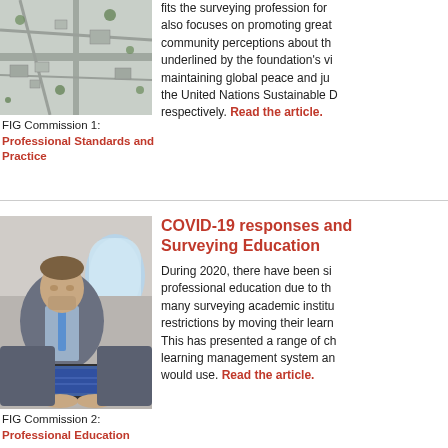[Figure (photo): Aerial view of a landscape with roads and vegetation]
FIG Commission 1: Professional Standards and Practice
fits the surveying profession for... also focuses on promoting great... community perceptions about th... underlined by the foundation's vi... maintaining global peace and ju... the United Nations Sustainable D... respectively. Read the article.
[Figure (photo): Man in suit working on laptop on an airplane]
FIG Commission 2: Professional Education
COVID-19 responses and Surveying Education
During 2020, there have been si... professional education due to th... many surveying academic institu... restrictions by moving their learn... This has presented a range of ch... learning management system an... would use. Read the article.